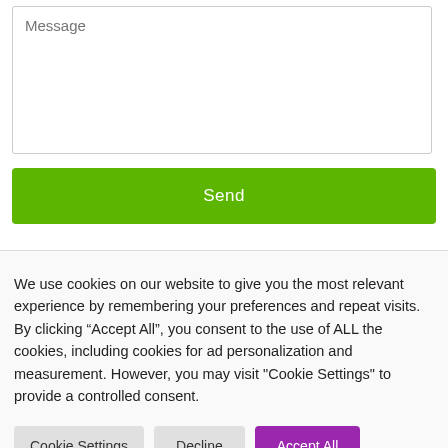[Figure (screenshot): A message textarea input field with placeholder text 'Message', followed by a green 'Send' button below it.]
We use cookies on our website to give you the most relevant experience by remembering your preferences and repeat visits. By clicking “Accept All”, you consent to the use of ALL the cookies, including cookies for ad personalization and measurement. However, you may visit "Cookie Settings" to provide a controlled consent.
Cookie Settings | Decline | Accept All